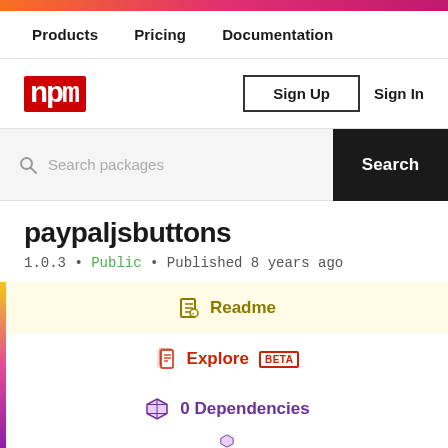Products  Pricing  Documentation
[Figure (logo): npm logo in red box]
Sign Up   Sign In
Search packages  Search
paypaljsbuttons
1.0.3 • Public • Published 8 years ago
Readme
Explore BETA
0 Dependencies